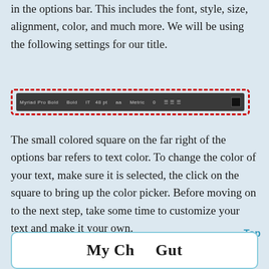in the options bar. This includes the font, style, size, alignment, color, and much more. We will be using the following settings for our title.
[Figure (screenshot): A screenshot of the Photoshop options bar highlighted with a red dashed border, showing font settings including Myriad Pro Bold, Bold style, 48pt size, and a black color square on the far right.]
The small colored square on the far right of the options bar refers to text color. To change the color of your text, make sure it is selected, the click on the square to bring up the color picker. Before moving on to the next step, take some time to customize your text and make it your own.
Top
[Figure (screenshot): Bottom partial screenshot of a step section with white rounded rectangle box, partially visible.]